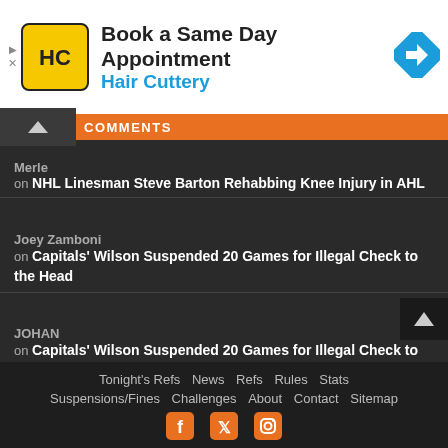[Figure (infographic): Advertisement banner for Hair Cuttery: Book a Same Day Appointment with logo and navigation arrow icon]
COMMENTS
Merle
on NHL Linesman Steve Barton Rehabbing Knee Injury in AHL
Joey Zamboni
on Capitals' Wilson Suspended 20 Games for Illegal Check to the Head
JOHAN
on Capitals' Wilson Suspended 20 Games for Illegal Check to the Head
Tonight's Refs  News  Refs  Rules  Stats  Suspensions/Fines  Challenges  About  Contact  Sitemap